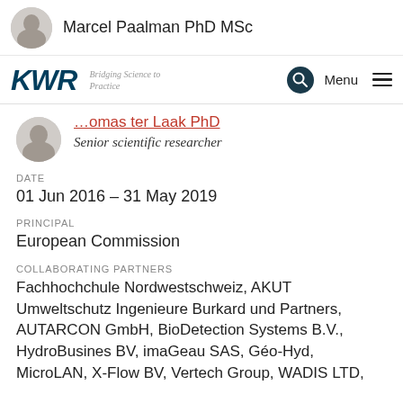[Figure (photo): Circular profile photo of Marcel Paalman in top header bar]
Marcel Paalman PhD MSc
[Figure (logo): KWR logo with tagline 'Bridging Science to Practice' and navigation icons]
[Figure (photo): Circular profile photo of Thomas ter Laak]
…omas ter Laak PhD
Senior scientific researcher
DATE
01 Jun 2016 – 31 May 2019
PRINCIPAL
European Commission
COLLABORATING PARTNERS
Fachhochchule Nordwestschweiz, AKUT Umweltschutz Ingenieure Burkard und Partners, AUTARCON GmbH, BioDetection Systems B.V., HydroBusines BV, imaGeau SAS, Géo-Hyd, MicroLAN, X-Flow BV, Vertech Group, WADIS LTD,